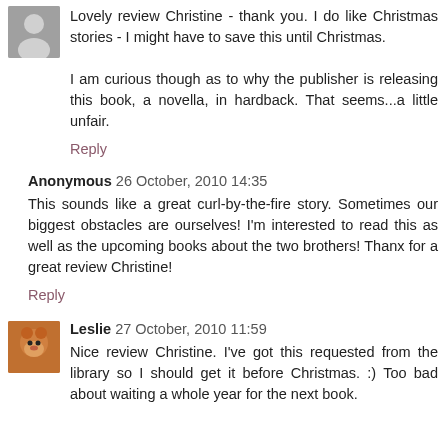Lovely review Christine - thank you. I do like Christmas stories - I might have to save this until Christmas.

I am curious though as to why the publisher is releasing this book, a novella, in hardback. That seems...a little unfair.
Reply
Anonymous 26 October, 2010 14:35
This sounds like a great curl-by-the-fire story. Sometimes our biggest obstacles are ourselves! I'm interested to read this as well as the upcoming books about the two brothers! Thanx for a great review Christine!
Reply
Leslie 27 October, 2010 11:59
Nice review Christine. I've got this requested from the library so I should get it before Christmas. :) Too bad about waiting a whole year for the next book.